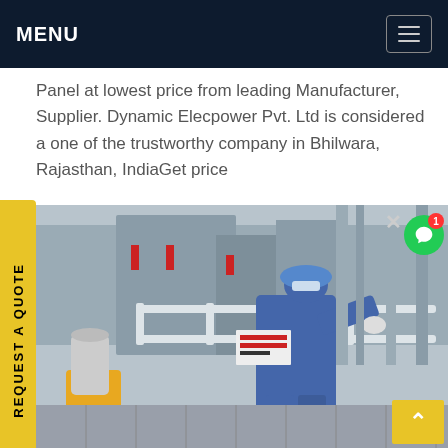MENU
Panel at lowest price from leading Manufacturer, Supplier. Dynamic Elecpower Pvt. Ltd is considered a one of the trustworthy company in Bhilwara, Rajasthan, IndiaGet price
REQUEST A QUOTE
[Figure (photo): An industrial worker in blue overalls and blue hard hat leaning over equipment/machinery in an industrial setting, with yellow equipment visible in the foreground and industrial structures in the background.]